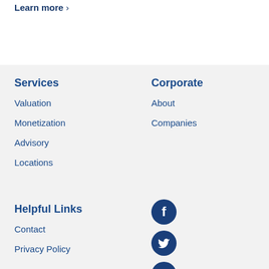Learn more >
Services
Valuation
Monetization
Advisory
Locations
Corporate
About
Companies
Helpful Links
Contact
Privacy Policy
[Figure (illustration): Facebook, Twitter, and LinkedIn social media icons (dark blue circles with white logos)]